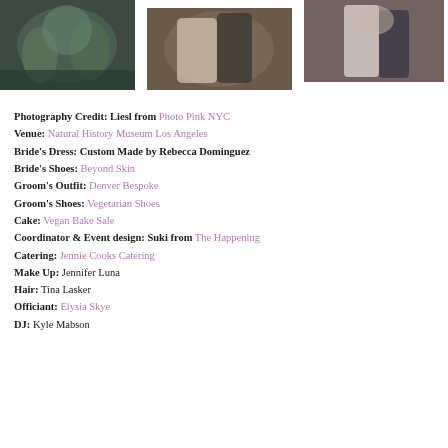[Figure (photo): Three wedding reception photos showing dancing and couples]
Photography Credit: Liesl from Photo Pink NYC
Venue: Natural History Museum Los Angeles
Bride's Dress: Custom Made by Rebecca Dominguez
Bride's Shoes: Beyond Skin
Groom's Outfit: Denver Bespoke
Groom's Shoes: Vegetarian Shoes
Cake: Vegan Bake Sale
Coordinator & Event design: Suki from The Happening
Catering: Jennie Cooks Catering
Make Up: Jennifer Luna
Hair: Tina Lasker
Officiant: Elysia Skye
DJ: Kyle Mabson